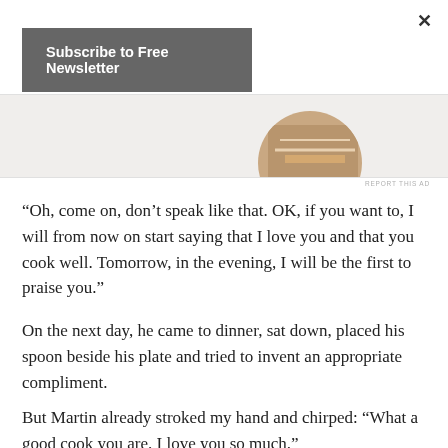×
Subscribe to Free Newsletter
[Figure (photo): Partial circular image showing hands, likely working at a table, serving as an advertisement graphic]
REPORT THIS AD
“Oh, come on, don’t speak like that. OK, if you want to, I will from now on start saying that I love you and that you cook well. Tomorrow, in the evening, I will be the first to praise you.”
On the next day, he came to dinner, sat down, placed his spoon beside his plate and tried to invent an appropriate compliment.
But Martin already stroked my hand and chirped: “What a good cook you are. I love you so much.”